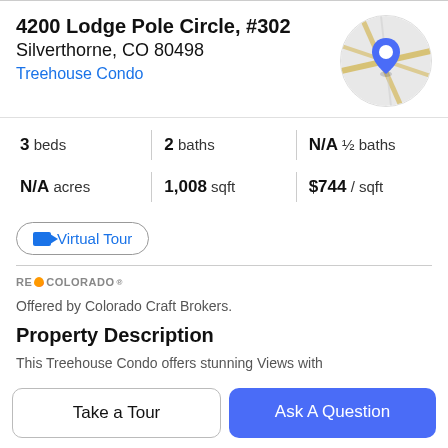4200 Lodge Pole Circle, #302
Silverthorne, CO 80498
Treehouse Condo
[Figure (map): Circular map thumbnail showing street map with blue location pin marker]
| Stat | Value |
| --- | --- |
| beds | 3 |
| baths | 2 |
| ½ baths | N/A |
| acres | N/A |
| sqft | 1,008 |
| / sqft | $744 |
Virtual Tour
RE🔥COLORADO®
Offered by Colorado Craft Brokers.
Property Description
This Treehouse Condo offers stunning Views with
Take a Tour
Ask A Question